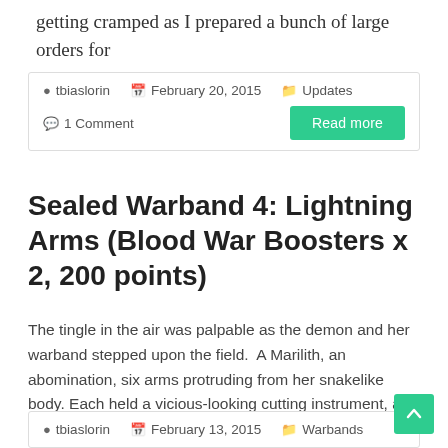getting cramped as I prepared a bunch of large orders for
tbiaslorin   February 20, 2015   Updates   1 Comment
Read more
Sealed Warband 4: Lightning Arms (Blood War Boosters x 2, 200 points)
The tingle in the air was palpable as the demon and her warband stepped upon the field.  A Marilith, an abomination, six arms protruding from her snakelike body. Each held a vicious-looking cutting instrument, and even the Drow Enforcer that
tbiaslorin   February 13, 2015   Warbands